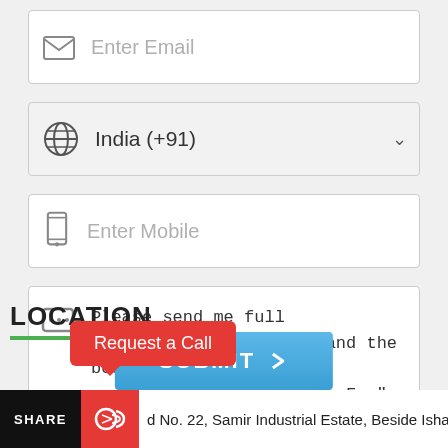[Figure (screenshot): Email input field with envelope icon and placeholder text 'Enter Email']
[Figure (screenshot): Country selector dropdown showing 'India (+91)' with globe icon and chevron]
[Figure (screenshot): Mobile number input field with phone icon and placeholder text 'Enter Mobile']
Please send me full details/specifications and the best price for "Boiler Blower Fan".
[Figure (screenshot): Submit button with chevron arrow]
LOCATION
Request a Call
SHARE
d No. 22, Samir Industrial Estate, Beside Ishan Dye